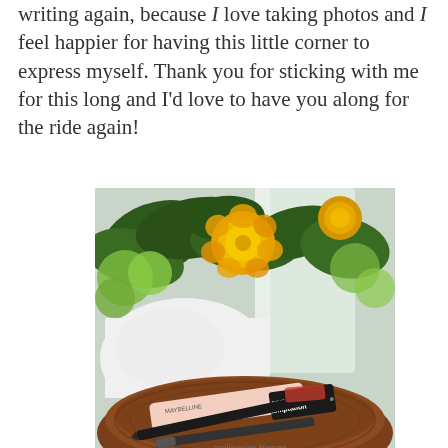writing again, because I love taking photos and I feel happier for having this little corner to express myself. Thank you for sticking with me for this long and I'd love to have you along for the ride again!
[Figure (photo): A lifestyle photo showing a wooden bowl containing makeup products including a Maybelline mascara labeled 'total temptation', an eyeliner, and other beauty items. In the background is a white ceramic vase/pot with yellow roses and green foliage.]